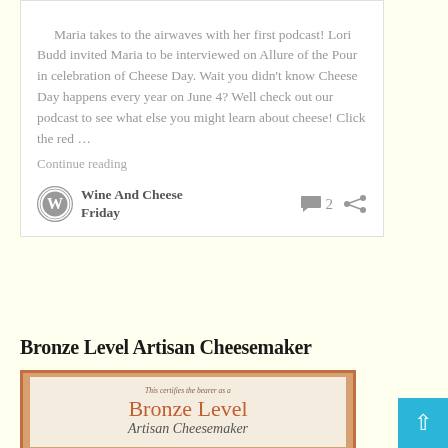Maria takes to the airwaves with her first podcast! Lori Budd invited Maria to be interviewed on Allure of the Pour in celebration of Cheese Day. Wait you didn't know Cheese Day happens every year on June 4? Well check out our podcast to see what else you might learn about cheese! Click the red …
Continue reading
Wine And Cheese Friday  2
Bronze Level Artisan Cheesemaker
[Figure (illustration): Certificate image showing 'Bronze Level Artisan Cheesemaker' text in decorative style with orange/terracotta border]